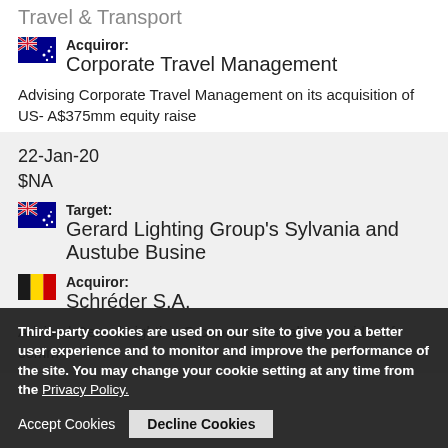Travel & Transport
Acquiror: Corporate Travel Management
Advising Corporate Travel Management on its acquisition of US- A$375mm equity raise
22-Jan-20
$NA
Target: Gerard Lighting Group's Sylvania and Austube Busine
Acquiror: Schréder S.A.
Advised Gerard Lighting Group, an Australian provider of comm
Third-party cookies are used on our site to give you a better user experience and to monitor and improve the performance of the site. You may change your cookie setting at any time from the Privacy Policy.